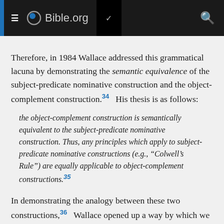Bible.org
Therefore, in 1984 Wallace addressed this grammatical lacuna by demonstrating the semantic equivalence of the subject-predicate nominative construction and the object-complement construction.34  His thesis is as follows:
the object-complement construction is semantically equivalent to the subject-predicate nominative construction. Thus, any principles which apply to subject-predicate nominative constructions (e.g., "Colwell's Rule") are equally applicable to object-complement constructions.35
In demonstrating the analogy between these two constructions,36   Wallace opened up a way by which we can identify the components of the object-complement